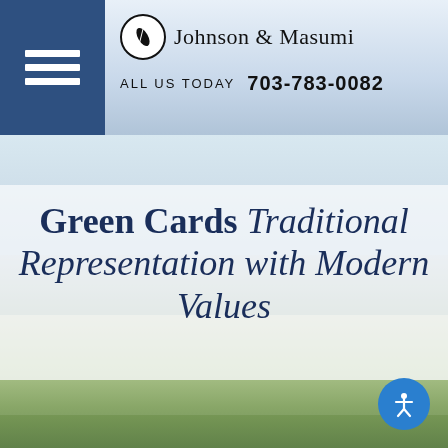Johnson & Masumi
CALL US TODAY  703-783-0082
[Figure (screenshot): Law firm website screenshot showing Johnson & Masumi header with logo, menu icon, phone number, and a city skyline hero image with the title 'Green Cards Traditional Representation with Modern Values']
Green Cards Traditional Representation with Modern Values